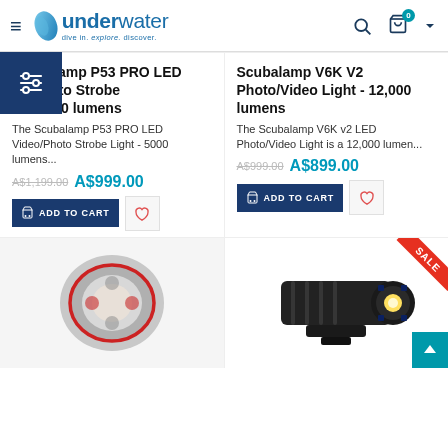underwater — dive in. explore. discover.
Scubalamp P53 PRO LED Video/Photo Strobe Light - 5000 lumens
The Scubalamp P53 PRO LED Video/Photo Strobe Light - 5000 lumens...
A$1,199.00  A$999.00
Scubalamp V6K V2 Photo/Video Light - 12,000 lumens
The Scubalamp V6K v2 LED Photo/Video Light is a 12,000 lumen...
A$999.00  A$899.00
[Figure (photo): Scubalamp P53 PRO LED strobe light - front/back view on gray background]
[Figure (photo): Scubalamp V6K V2 underwater video light - black cylindrical torch on stand, with SALE badge]